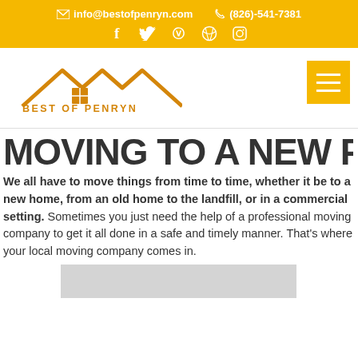✉ info@bestofpenryn.com   ✆ (826)-541-7381
[Figure (logo): Best of Penryn logo with house/mountain roofline icon in orange and text BEST OF PENRYN]
MOVING TO A NEW PLACE
We all have to move things from time to time, whether it be to a new home, from an old home to the landfill, or in a commercial setting. Sometimes you just need the help of a professional moving company to get it all done in a safe and timely manner. That's where your local moving company comes in.
[Figure (photo): Bottom edge of a photo, light grey/white background visible at bottom of page]